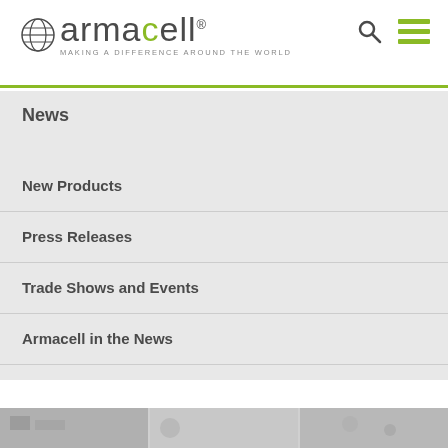[Figure (logo): Armacell logo with globe icon, wordmark 'armacell' with green 'c', and tagline 'MAKING A DIFFERENCE AROUND THE WORLD'. Search and hamburger menu icons on right.]
News
New Products
Press Releases
Trade Shows and Events
Armacell in the News
Videos